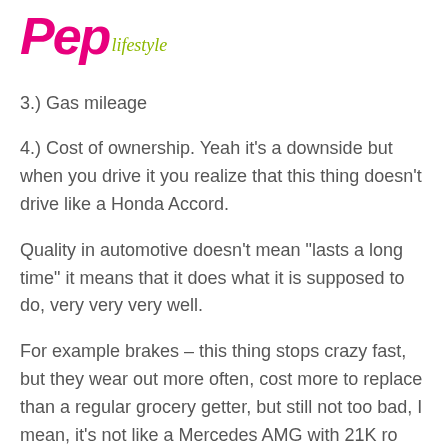Pep Lifestyle
3.) Gas mileage
4.) Cost of ownership. Yeah it’s a downside but when you drive it you realize that this thing doesn’t drive like a Honda Accord.
Quality in automotive doesn’t mean “lasts a long time” it means that it does what it is supposed to do, very very very well.
For example brakes – this thing stops crazy fast, but they wear out more often, cost more to replace than a regular grocery getter, but still not too bad, I mean, it’s not like a Mercedes AMG with 21K rotors...